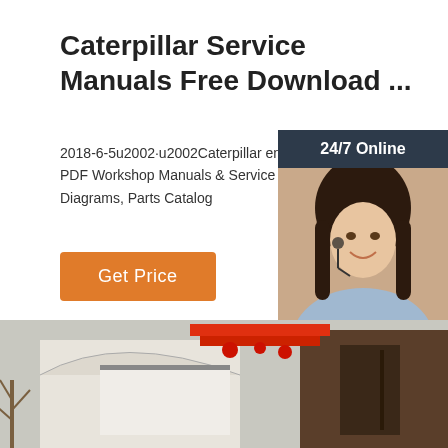Caterpillar Service Manuals Free Download ...
2018-6-5u2002·u2002Caterpillar engines, trucks tractors PDF Workshop Manuals & Service Ma... Wiring Diagrams, Parts Catalog
[Figure (other): Orange 'Get Price' button]
[Figure (other): Chat widget overlay with '24/7 Online' header, customer service representative photo, 'Click here for free chat!' text, and orange QUOTATION button]
[Figure (photo): Photograph of industrial/commercial building exterior with red banners and architectural structures]